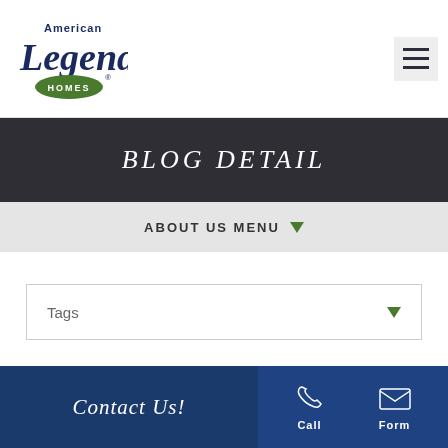[Figure (logo): American Legend Homes logo with cursive text and green oval badge]
[Figure (other): Hamburger menu icon (three horizontal lines) in grey box]
BLOG DETAIL
ABOUT US MENU
Tags
[Figure (photo): Partially visible cream/beige textured background image]
Contact Us!
Call
Form